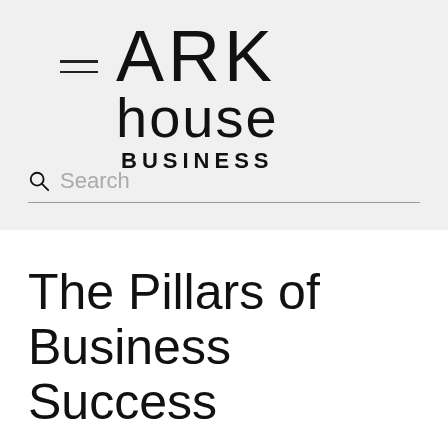[Figure (logo): ARK house BUSINESS logo with hamburger menu icon on the left]
Search
The Pillars of Business Success